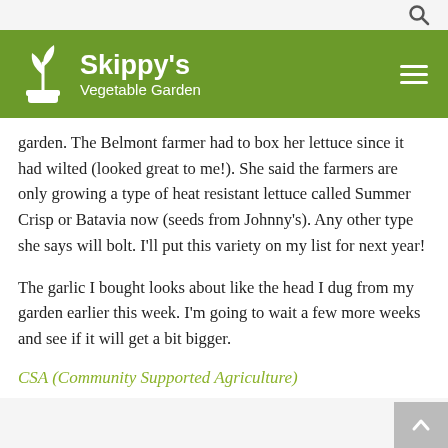[Figure (logo): Skippy's Vegetable Garden logo with plant icon on green banner, hamburger menu icon on right, search icon top right]
garden. The Belmont farmer had to box her lettuce since it had wilted (looked great to me!). She said the farmers are only growing a type of heat resistant lettuce called Summer Crisp or Batavia now (seeds from Johnny's). Any other type she says will bolt. I'll put this variety on my list for next year!
The garlic I bought looks about like the head I dug from my garden earlier this week. I'm going to wait a few more weeks and see if it will get a bit bigger.
CSA (Community Supported Agriculture)